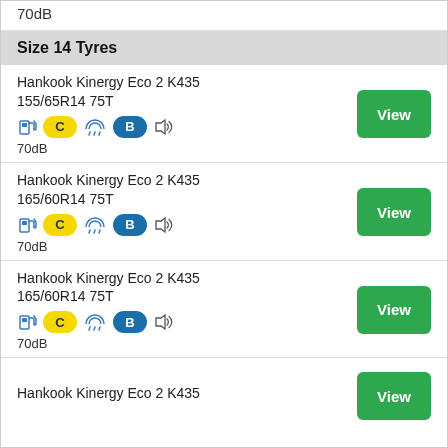70dB
Size 14 Tyres
Hankook Kinergy Eco 2 K435 155/65R14 75T
C | B | 70dB
Hankook Kinergy Eco 2 K435 165/60R14 75T
C | B | 70dB
Hankook Kinergy Eco 2 K435 165/60R14 75T
C | B | 70dB
Hankook Kinergy Eco 2 K435